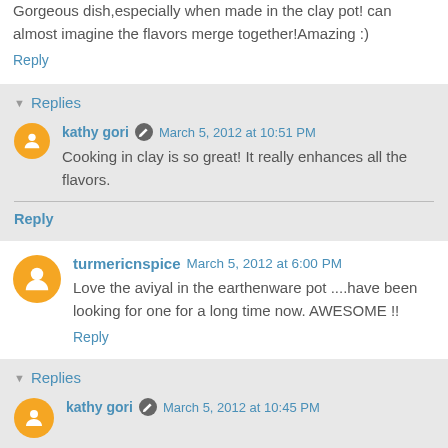Gorgeous dish,especially when made in the clay pot! can almost imagine the flavors merge together!Amazing :)
Reply
Replies
kathy gori  March 5, 2012 at 10:51 PM
Cooking in clay is so great! It really enhances all the flavors.
Reply
turmericnspice  March 5, 2012 at 6:00 PM
Love the aviyal in the earthenware pot ....have been looking for one for a long time now. AWESOME !!
Reply
Replies
kathy gori  March 5, 2012 at 10:45 PM